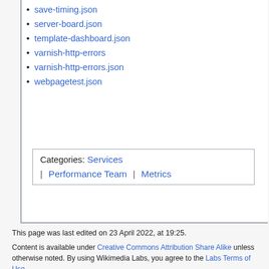save-timing.json
server-board.json
template-dashboard.json
varnish-http-errors
varnish-http-errors.json
webpagetest.json
Categories:  Services  |  Performance Team  |  Metrics
This page was last edited on 23 April 2022, at 19:25.
Content is available under Creative Commons Attribution Share Alike unless otherwise noted. By using Wikimedia Labs, you agree to the Labs Terms of Use.
Privacy policy   About Wikitech-static
Disclaimers